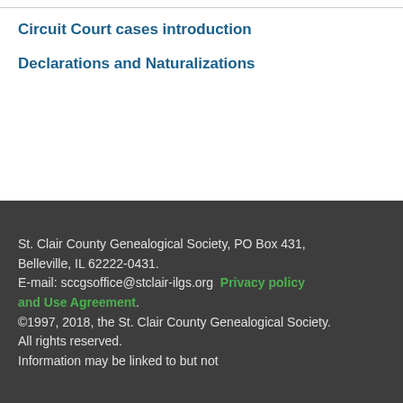Circuit Court cases introduction
Declarations and Naturalizations
St. Clair County Genealogical Society, PO Box 431, Belleville, IL 62222-0431.
E-mail: sccgsoffice@stclair-ilgs.org  Privacy policy and Use Agreement.
©1997, 2018, the St. Clair County Genealogical Society. All rights reserved.
Information may be linked to but not